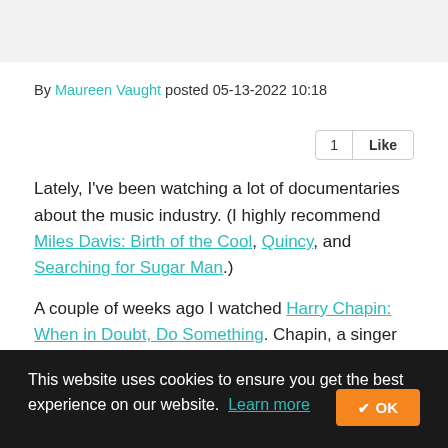By Maureen Vaught posted 05-13-2022 10:18
1 Like
Lately, I've been watching a lot of documentaries about the music industry. (I highly recommend Miles Davis: Birth of the Cool, Quincy, and Searching for Sugar Man.)
A couple of weeks ago I watched Harry Chapin: When in Doubt, Do Something. Chapin, a singer and songwriter
This website uses cookies to ensure you get the best experience on our website. Learn more